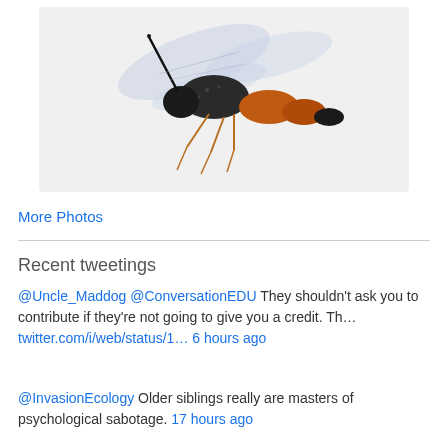[Figure (photo): Close-up photograph of a wasp on a white background, showing black and orange body, transparent wings, and orange legs.]
More Photos
Recent tweetings
@Uncle_Maddog @ConversationEDU They shouldn't ask you to contribute if they're not going to give you a credit. Th… twitter.com/i/web/status/1… 6 hours ago
@InvasionEcology Older siblings really are masters of psychological sabotage. 17 hours ago